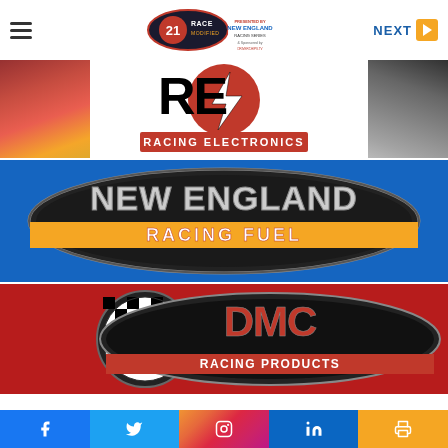Navigation header with hamburger menu, racing series logo, and NEXT button
[Figure (logo): RE Racing Electronics advertisement banner with crowd photos on sides and RE lightning bolt logo in center]
[Figure (logo): New England Racing Fuel advertisement banner with oval logo on blue background]
[Figure (logo): DMC Racing Products advertisement banner with oval DMC logo on red background]
Social media links: Facebook, Twitter, Instagram, LinkedIn, Print